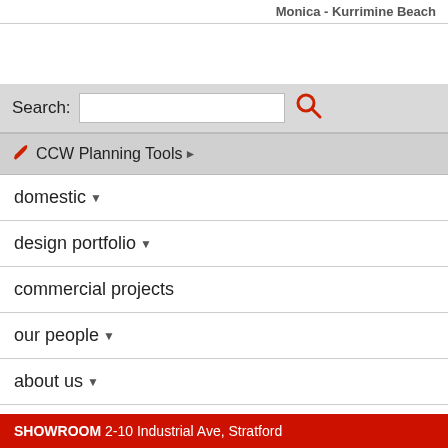Monica - Kurrimine Beach
Search:
CCW Planning Tools
domestic
design portfolio
commercial projects
our people
about us
our clients
domestic
commercial
SHOWROOM 2-10 Industrial Ave, Stratford